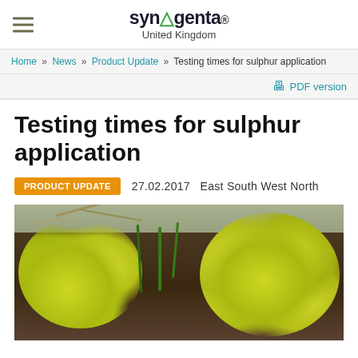syngenta. United Kingdom
Home » News » Product Update » Testing times for sulphur application
PDF version
Testing times for sulphur application
PRODUCT UPDATE   27.02.2017   East South West North
[Figure (photo): Close-up photograph of yellow flowers (oilseed rape/canola) growing in dark soil with straw debris]